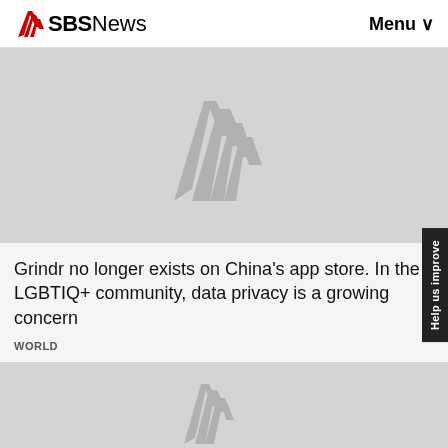SBS News   Menu
[Figure (logo): SBS News logo placeholder image with grey background and SBS chevron watermark]
Grindr no longer exists on China's app store. In the LGBTIQ+ community, data privacy is a growing concern
WORLD
[Figure (photo): Second article image placeholder with grey background and SBS chevron watermark]